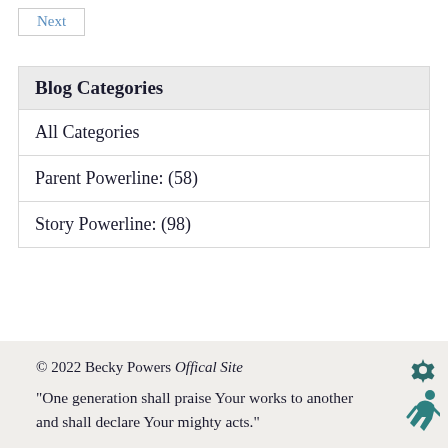Next
Blog Categories
All Categories
Parent Powerline: (58)
Story Powerline: (98)
© 2022 Becky Powers Offical Site
“One generation shall praise Your works to another and shall declare Your mighty acts.”